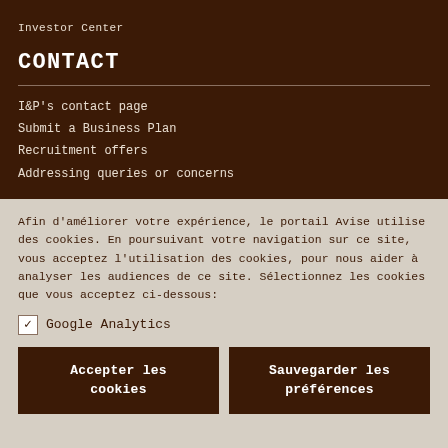Investor Center
CONTACT
I&P's contact page
Submit a Business Plan
Recruitment offers
Addressing queries or concerns
Afin d'améliorer votre expérience, le portail Avise utilise des cookies. En poursuivant votre navigation sur ce site, vous acceptez l'utilisation des cookies, pour nous aider à analyser les audiences de ce site. Sélectionnez les cookies que vous acceptez ci-dessous:
✓ Google Analytics
Accepter les cookies
Sauvegarder les préférences